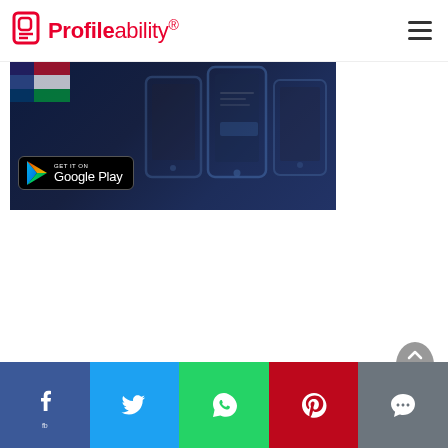Profileability
[Figure (screenshot): Google Play Store banner showing 'GET IT ON Google Play' badge over a dark background with phone device silhouettes]
[Figure (infographic): Social sharing bar with Facebook (blue), Twitter (light blue), WhatsApp (green), Pinterest (red), and SMS (grey) icons]